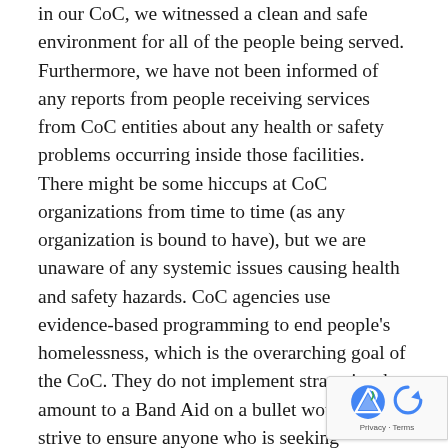in our CoC, we witnessed a clean and safe environment for all of the people being served. Furthermore, we have not been informed of any reports from people receiving services from CoC entities about any health or safety problems occurring inside those facilities. There might be some hiccups at CoC organizations from time to time (as any organization is bound to have), but we are unaware of any systemic issues causing health and safety hazards. CoC agencies use evidence-based programming to end people's homelessness, which is the overarching goal of the CoC. They do not implement strategies that amount to a Band Aid on a bullet wound. They strive to ensure anyone who is seeking assistance with housing finds it.
Downtown residents and organizations have for years attempted to work with New Life Evangelistic Center (NLEC) to convince them to join the CoC. The